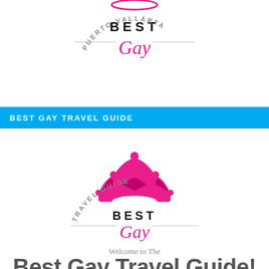[Figure (logo): Best Gay Puerto Vallarta logo with pink crown partially visible at top, BEST text in bold black, Gay in pink script, PUERTO VALLARTA in grey arched text]
BEST GAY TRAVEL GUIDE
[Figure (logo): Best Gay Travel Guide logo with pink crown, BEST in bold black, Gay in pink script, TRAVEL GUIDE in grey arched text]
Welcome to The
Best Gay Travel Guide!